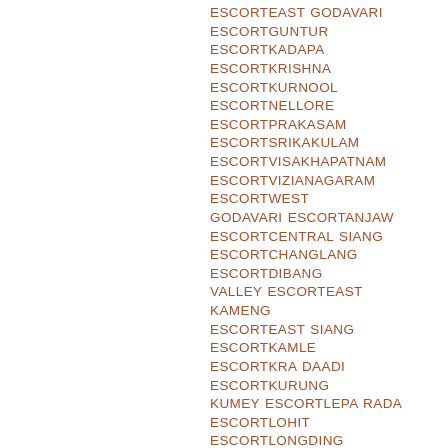ESCORTEAST GODAVARI ESCORTGUNTUR ESCORTKADAPA ESCORTKRISHNA ESCORTKURNOOL ESCORTNELLORE ESCORTPRAKASAM ESCORTSRIKAKULAM ESCORTVISAKHAPATNAM ESCORTVIZIANAGARAM ESCORTWEST GODAVARI ESCORTANJAW ESCORTCENTRAL SIANG ESCORTCHANGLANG ESCORTDIBANG VALLEY ESCORTEAST KAMENG ESCORTEAST SIANG ESCORTKAMLE ESCORTKRA DAADI ESCORTKURUNG KUMEY ESCORTLEPA RADA ESCORTLOHIT ESCORTLONGDING ESCORTLOWER DIBANG VALLEY ESCORTLOWER SIANG ESCORTLOWER SUBANSIRI ESCORTNAMSAI ESCORTPAKKE KESSANG ESCORTPAPUM PARE ESCORTSHI YOMI ESCORTTAWANG ESCORTTIRAP ESCORTUPPER SIANG ESCORTUPPER SUBANSIRI ESCORTWEST KAMENG